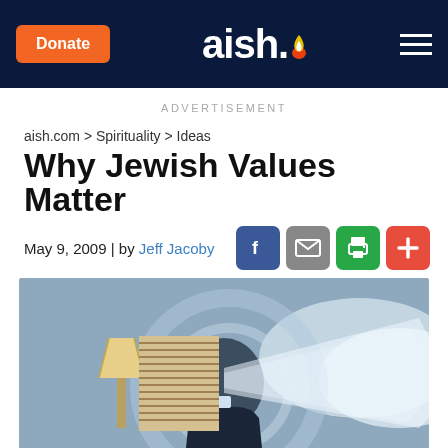Donate | aish. | (menu)
ADVERTISEMENT
aish.com > Spirituality > Ideas
Why Jewish Values Matter
May 9, 2009 | by Jeff Jacoby
[Figure (photo): Surrealist illustration of a man in a suit with his head replaced by a lamp and a projector beam emanating from the right, set against a blue circular and cloudy background.]